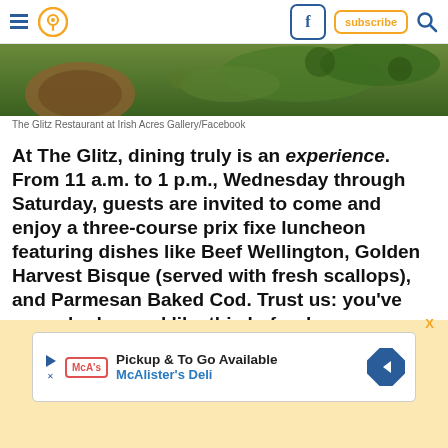Navigation bar with hamburger menu, location icon, Facebook icon, subscribe button, search icon
[Figure (photo): Photo of The Glitz Restaurant at Irish Acres Gallery/Facebook — outdoor greenery and rustic elements]
The Glitz Restaurant at Irish Acres Gallery/Facebook
At The Glitz, dining truly is an experience. From 11 a.m. to 1 p.m., Wednesday through Saturday, guests are invited to come and enjoy a three-course prix fixe luncheon featuring dishes like Beef Wellington, Golden Harvest Bisque (served with fresh scallops), and Parmesan Baked Cod. Trust us: you've never had a meal like this before!
[Figure (other): Advertisement: Pickup & To Go Available — McAlister's Deli]